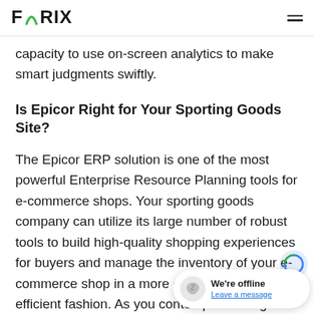FORIX
capacity to use on-screen analytics to make smart judgments swiftly.
Is Epicor Right for Your Sporting Goods Site?
The Epicor ERP solution is one of the most powerful Enterprise Resource Planning tools for e-commerce shops. Your sporting goods company can utilize its large number of robust tools to build high-quality shopping experiences for buyers and manage the inventory of your e-commerce shop in a more effective and cost efficient fashion. As you contemplate using Epicor ERP as the integrati... system, the following in mind: